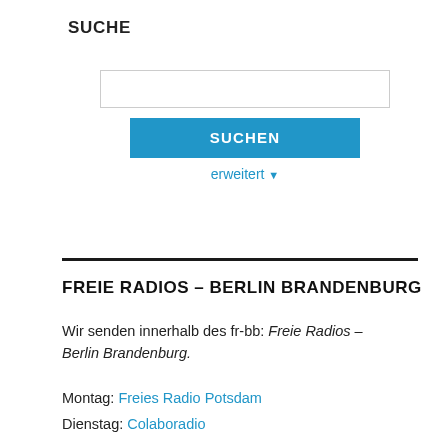SUCHE
[Figure (screenshot): Search input box (empty text field)]
SUCHEN (button)
erweitert ▼
FREIE RADIOS – BERLIN BRANDENBURG
Wir senden innerhalb des fr-bb: Freie Radios – Berlin Brandenburg.
Montag: Freies Radio Potsdam
Dienstag: Colaboradio